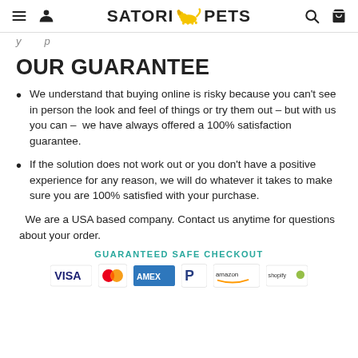SATORI PETS
y p
OUR GUARANTEE
We understand that buying online is risky because you can't see in person the look and feel of things or try them out – but with us you can –  we have always offered a 100% satisfaction guarantee.
If the solution does not work out or you don't have a positive experience for any reason, we will do whatever it takes to make sure you are 100% satisfied with your purchase.
We are a USA based company. Contact us anytime for questions about your order.
GUARANTEED SAFE CHECKOUT
[Figure (logo): Payment logos: VISA, Mastercard, AMEX, PayPal, Amazon, Shopify]